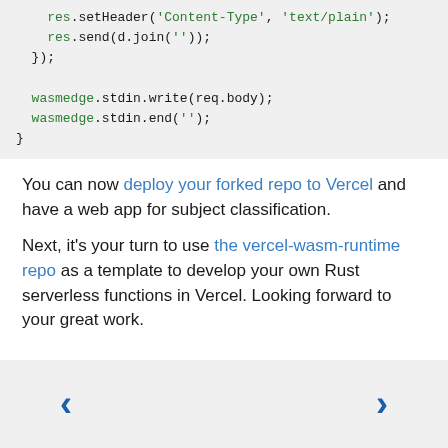res.setHeader('Content-Type', 'text/plain');
    res.send(d.join(''));
  });

  wasmedge.stdin.write(req.body);
  wasmedge.stdin.end('');
}
You can now deploy your forked repo to Vercel and have a web app for subject classification.
Next, it's your turn to use the vercel-wasm-runtime repo as a template to develop your own Rust serverless functions in Vercel. Looking forward to your great work.
[Figure (other): Navigation bar with left and right arrow buttons for page navigation]